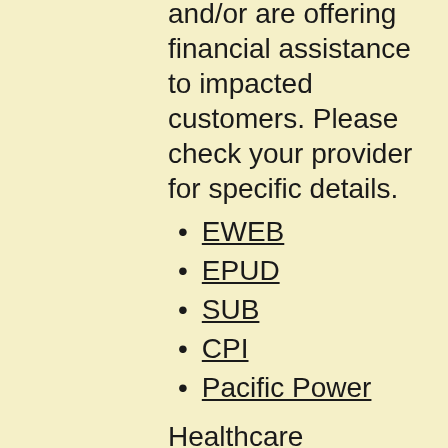and/or are offering financial assistance to impacted customers. Please check your provider for specific details.
EWEB
EPUD
SUB
CPI
Pacific Power
Healthcare
The Oregon Health Authority website has the latest on COVID in Oregon